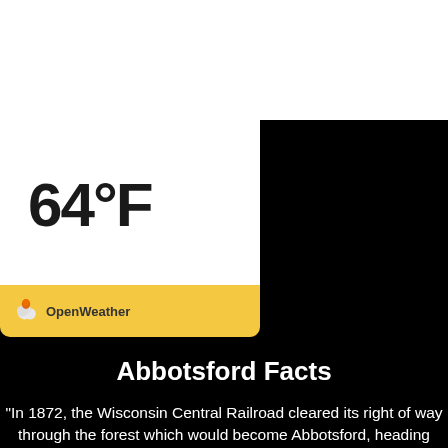[Figure (screenshot): Hamburger menu icon with three blue horizontal lines]
64°F
[Figure (logo): OpenWeather logo on yellow bar with orange cloud icon]
Abbotsford Facts
"In 1872, the Wisconsin Central Railroad cleared its right of way through the forest which would become Abbotsford, heading north for Ashland. Rails were built through the town site in 1874. In 1879 the directors of the Wisconsin Central decided to build west from Colby to Chippewa Falls, to connect there with the Chippewa Falls & Western and ultimately St. Paul. However, they found that Colby Hill was not a good site for a junction,